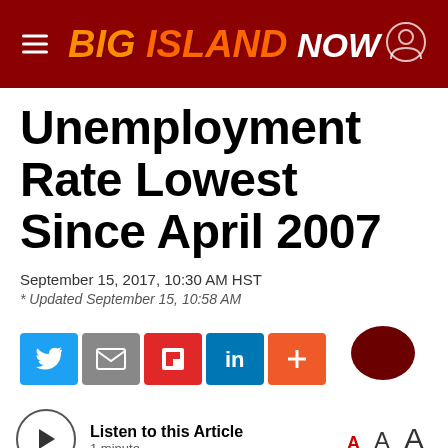BIG ISLAND NOW
Unemployment Rate Lowest Since April 2007
September 15, 2017, 10:30 AM HST
* Updated September 15, 10:58 AM
[Figure (infographic): Social share buttons: Twitter, Email, Flipboard, LinkedIn, More; plus a comment bubble icon on the right]
[Figure (infographic): Listen to this Article audio player with play button, duration '1 minute', and font size controls A A A on the right]